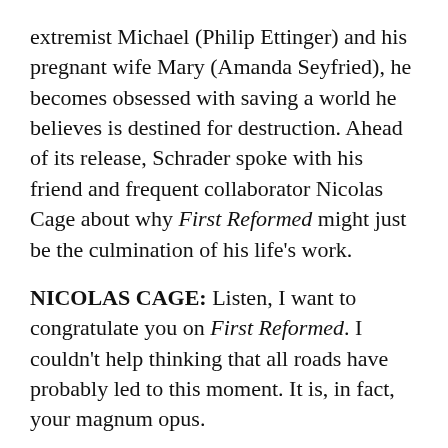extremist Michael (Philip Ettinger) and his pregnant wife Mary (Amanda Seyfried), he becomes obsessed with saving a world he believes is destined for destruction. Ahead of its release, Schrader spoke with his friend and frequent collaborator Nicolas Cage about why First Reformed might just be the culmination of his life's work.
NICOLAS CAGE: Listen, I want to congratulate you on First Reformed. I couldn't help thinking that all roads have probably led to this moment. It is, in fact, your magnum opus.